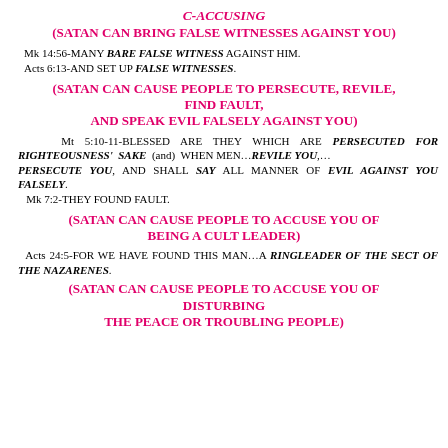C-ACCUSING (SATAN CAN BRING FALSE WITNESSES AGAINST YOU)
Mk 14:56-MANY BARE FALSE WITNESS AGAINST HIM. Acts 6:13-AND SET UP FALSE WITNESSES.
(SATAN CAN CAUSE PEOPLE TO PERSECUTE, REVILE, FIND FAULT, AND SPEAK EVIL FALSELY AGAINST YOU)
Mt 5:10-11-BLESSED ARE THEY WHICH ARE PERSECUTED FOR RIGHTEOUSNESS' SAKE (and) WHEN MEN...REVILE YOU,...PERSECUTE YOU, AND SHALL SAY ALL MANNER OF EVIL AGAINST YOU FALSELY. Mk 7:2-THEY FOUND FAULT.
(SATAN CAN CAUSE PEOPLE TO ACCUSE YOU OF BEING A CULT LEADER)
Acts 24:5-FOR WE HAVE FOUND THIS MAN...A RINGLEADER OF THE SECT OF THE NAZARENES.
(SATAN CAN CAUSE PEOPLE TO ACCUSE YOU OF DISTURBING THE PEACE OR TROUBLING PEOPLE)